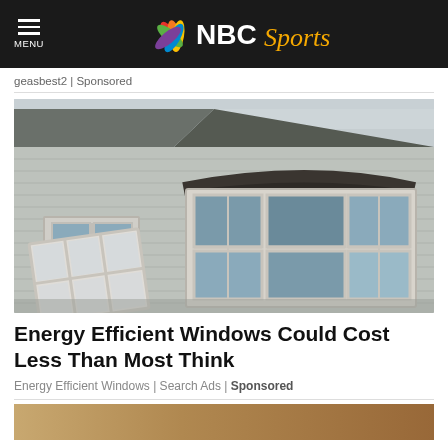MENU | NBC Sports
geasbest2 | Sponsored
[Figure (photo): Exterior of a house with old vinyl siding showing a bay window with three panes and a dark curved roof accent; a window frame leans against the house on the left side.]
Energy Efficient Windows Could Cost Less Than Most Think
Energy Efficient Windows | Search Ads | Sponsored